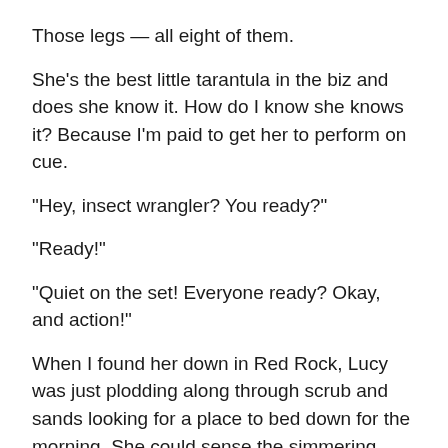Those legs — all eight of them.
She's the best little tarantula in the biz and does she know it. How do I know she knows it? Because I'm paid to get her to perform on cue.
“Hey, insect wrangler? You ready?”
“Ready!”
“Quiet on the set! Everyone ready? Okay, and action!”
When I found her down in Red Rock, Lucy was just plodding along through scrub and sands looking for a place to bed down for the morning. She could sense the simmering heat rising with the dawn. She also knew I was hovering overhead. I had to be careful or